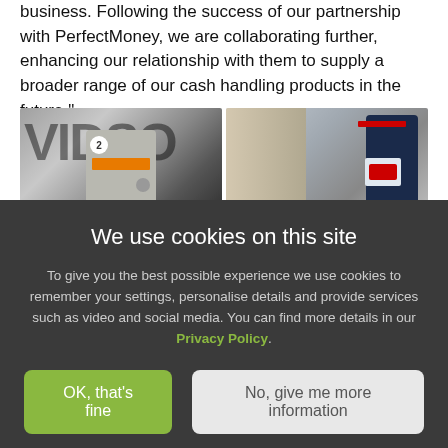business. Following the success of our partnership with PerfectMoney, we are collaborating further, enhancing our relationship with them to supply a broader range of our cash handling products in the future."
[Figure (photo): Two photos side by side: left shows a cash handling machine with 'VIDSON' text visible in background and an orange bill slot; right shows a blue kiosk/vending machine with a screen and red stripe in a retail environment.]
We use cookies on this site
To give you the best possible experience we use cookies to remember your settings, personalise details and provide services such as video and social media. You can find more details in our Privacy Policy.
OK, that's fine
No, give me more information